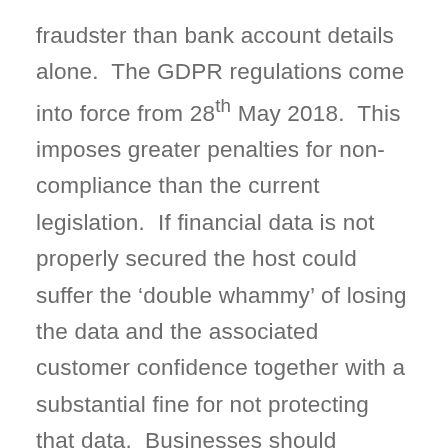fraudster than bank account details alone.  The GDPR regulations come into force from 28th May 2018.  This imposes greater penalties for non-compliance than the current legislation.  If financial data is not properly secured the host could suffer the ‘double whammy’ of losing the data and the associated customer confidence together with a substantial fine for not protecting that data.  Businesses should consider whether they really need to hold financial information and to investigate if that information could be anonymised.  Any potential ‘convenience’ to the customer of not having to provide banking details for each transaction would be easily outweighed by the penalties of not adequately securing that data.